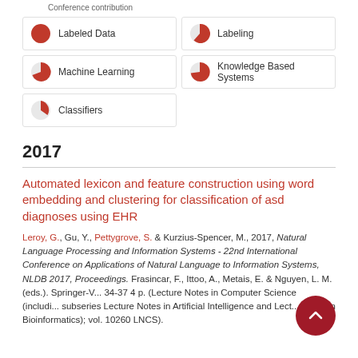Conference contribution
[Figure (infographic): Keyword badges with pie chart icons showing relevance percentages: Labeled Data (100%), Labeling (90%), Machine Learning (65%), Knowledge Based Systems (55%), Classifiers (25%)]
2017
Automated lexicon and feature construction using word embedding and clustering for classification of asd diagnoses using EHR
Leroy, G., Gu, Y., Pettygrove, S. & Kurzius-Spencer, M., 2017, Natural Language Processing and Information Systems - 22nd International Conference on Applications of Natural Language to Information Systems, NLDB 2017, Proceedings. Frasincar, F., Ittoo, A., Metais, E. & Nguyen, L. M. (eds.). Springer-V... 34-37 4 p. (Lecture Notes in Computer Science (includi... subseries Lecture Notes in Artificial Intelligence and Lect... Notes in Bioinformatics); vol. 10260 LNCS).